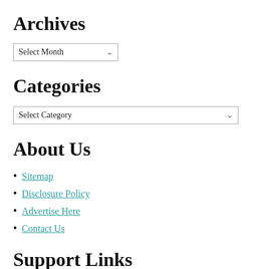Archives
[Figure (other): Dropdown select box labeled 'Select Month']
Categories
[Figure (other): Dropdown select box labeled 'Select Category']
About Us
Sitemap
Disclosure Policy
Advertise Here
Contact Us
Support Links